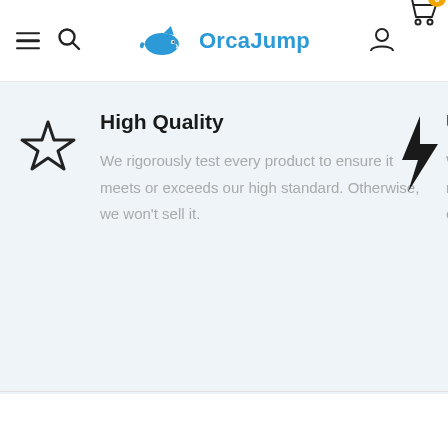OrcaJump — navigation bar with hamburger menu, search, logo, user icon, cart (0)
High Quality
We rigorously test every product to ensure it meets or exceeds our high standard. Otherwise, we won't sell it.
Unpara...
We've eli... markups,... exact sam...